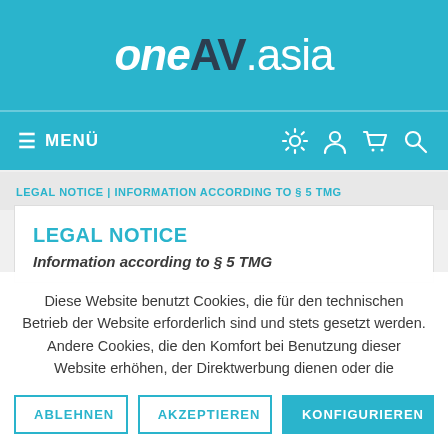oneAV.asia
≡ MENÜ
LEGAL NOTICE | INFORMATION ACCORDING TO § 5 TMG
LEGAL NOTICE
Information according to § 5 TMG
Diese Website benutzt Cookies, die für den technischen Betrieb der Website erforderlich sind und stets gesetzt werden. Andere Cookies, die den Komfort bei Benutzung dieser Website erhöhen, der Direktwerbung dienen oder die Interaktion mit anderen Websites und sozialen Netzwerken vereinfachen sollen, werden nur mit Ihrer Zustimmung gesetzt.
ABLEHNEN | AKZEPTIEREN | KONFIGURIEREN